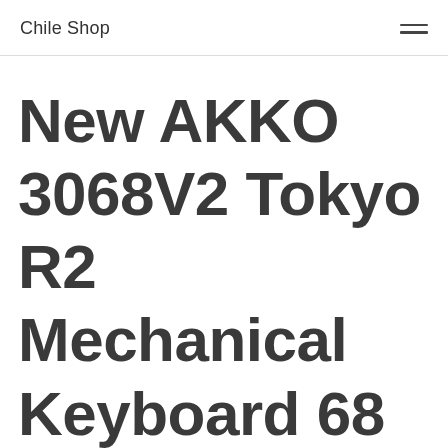Chile Shop
New AKKO 3068V2 Tokyo R2 Mechanical Keyboard 68 Keys